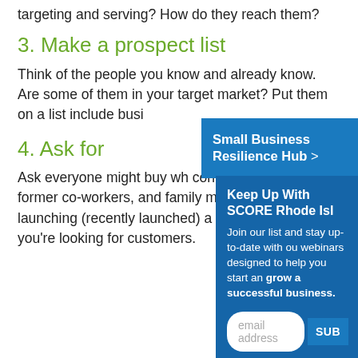targeting and serving? How do they reach them?
3. Make a prospect list
Think of the people you know and already know. Are some of them in your target market? Put them on a list include busi[ness contacts]
4. Ask for [referrals]
Ask everyone might buy wh[at you offer]. connections, neighbors, former co-workers, and family members that you’re launching (recently launched) a new business and you’re looking for customers.
[Figure (infographic): Small Business Resilience Hub > overlay button in blue]
[Figure (infographic): Keep Up With SCORE Rhode Island email signup overlay with email field and SUBSCRIBE button]